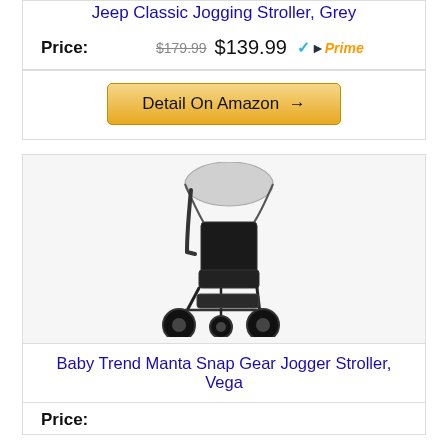Jeep Classic Jogging Stroller, Grey
Price: $179.99 $139.99 Prime
Detail On Amazon →
[Figure (photo): Baby jogger stroller with grey canopy and black frame, three wheels]
Baby Trend Manta Snap Gear Jogger Stroller, Vega
Price: